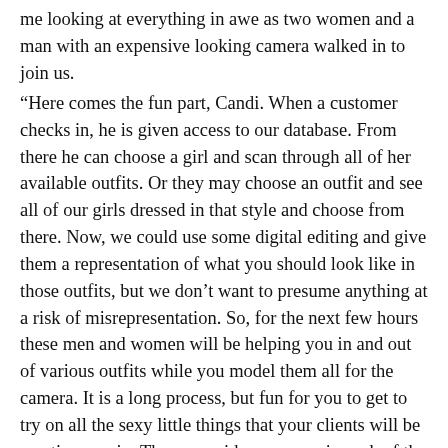me looking at everything in awe as two women and a man with an expensive looking camera walked in to join us.
“Here comes the fun part, Candi. When a customer checks in, he is given access to our database. From there he can choose a girl and scan through all of her available outfits. Or they may choose an outfit and see all of our girls dressed in that style and choose from there. Now, we could use some digital editing and give them a representation of what you should look like in those outfits, but we don’t want to presume anything at a risk of misrepresentation. So, for the next few hours these men and women will be helping you in and out of various outfits while you model them all for the camera. It is a long process, but fun for you to get to try on all the sexy little things that your clients will be wanting you in. There are video cameras in each of the rooms that we will use in addition for voyeuristic shots, but I want you to behave and work with Will and his assistants for